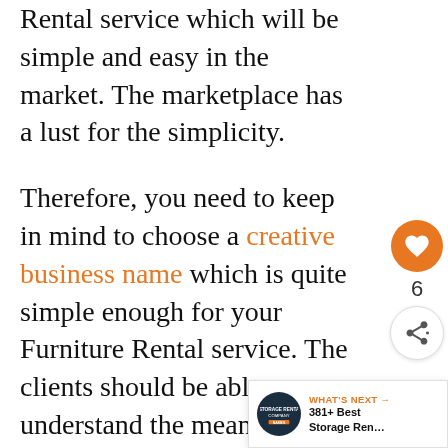Rental service which will be simple and easy in the market. The marketplace has a lust for the simplicity.
Therefore, you need to keep in mind to choose a creative business name which is quite simple enough for your Furniture Rental service. The clients should be able to understand the meaning of the name.
Therefore, check out the list which are presented below by our famous authors as the best